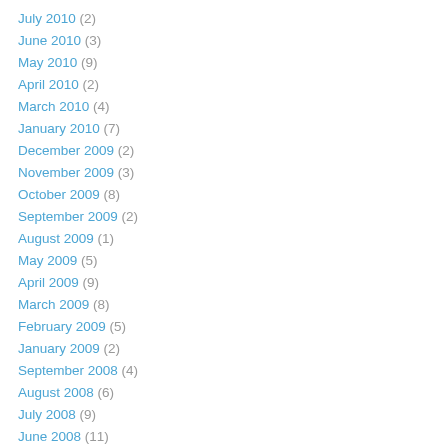July 2010 (2)
June 2010 (3)
May 2010 (9)
April 2010 (2)
March 2010 (4)
January 2010 (7)
December 2009 (2)
November 2009 (3)
October 2009 (8)
September 2009 (2)
August 2009 (1)
May 2009 (5)
April 2009 (9)
March 2009 (8)
February 2009 (5)
January 2009 (2)
September 2008 (4)
August 2008 (6)
July 2008 (9)
June 2008 (11)